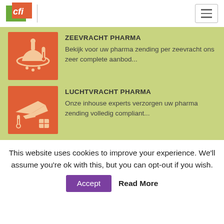CFI logo and navigation
ZEEVRACHT PHARMA
Bekijk voor uw pharma zending per zeevracht ons zeer complete aanbod...
LUCHTVRACHT PHARMA
Onze inhouse experts verzorgen uw pharma zending volledig compliant...
This website uses cookies to improve your experience. We'll assume you're ok with this, but you can opt-out if you wish.